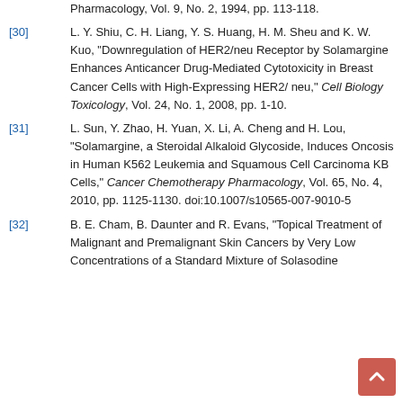Pharmacology, Vol. 9, No. 2, 1994, pp. 113-118.
[30] L. Y. Shiu, C. H. Liang, Y. S. Huang, H. M. Sheu and K. W. Kuo, "Downregulation of HER2/neu Receptor by Solamargine Enhances Anticancer Drug-Mediated Cytotoxicity in Breast Cancer Cells with High-Expressing HER2/ neu," Cell Biology Toxicology, Vol. 24, No. 1, 2008, pp. 1-10.
[31] L. Sun, Y. Zhao, H. Yuan, X. Li, A. Cheng and H. Lou, "Solamargine, a Steroidal Alkaloid Glycoside, Induces Oncosis in Human K562 Leukemia and Squamous Cell Carcinoma KB Cells," Cancer Chemotherapy Pharmacology, Vol. 65, No. 4, 2010, pp. 1125-1130. doi:10.1007/s10565-007-9010-5
[32] B. E. Cham, B. Daunter and R. Evans, "Topical Treatment of Malignant and Premalignant Skin Cancers by Very Low Concentrations of a Standard Mixture of Solasodine